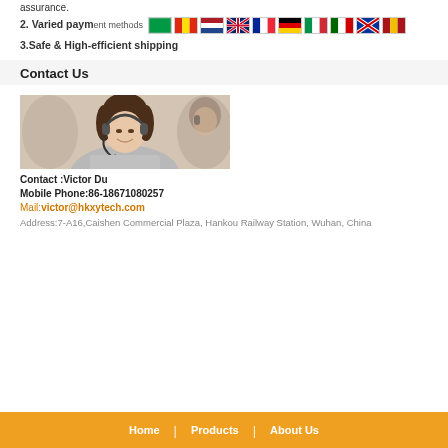assurance.
2. Varied payment methods
3.Safe & High-efficient shipping
Contact Us
[Figure (photo): Customer service representatives wearing headsets, smiling, in an office environment.]
Contact :Victor Du
Mobile Phone:86-18671080257
Mail:victor@hkxytech.com
Address:7-A16,Caishen Commercial Plaza, Hankou Railway Station, Wuhan, China
Home | Products | About Us